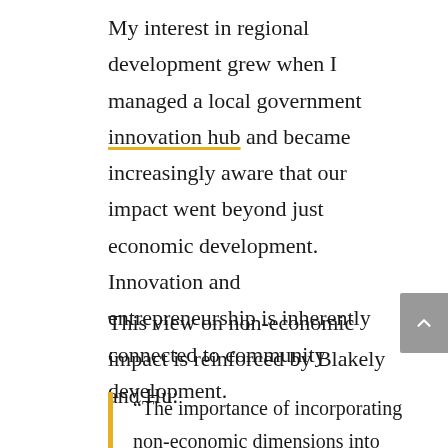My interest in regional development grew when I managed a local government innovation hub and became increasingly aware that our impact went beyond just economic development. Innovation and entrepreneurship is inherently connected to community development.
This view on non-economic impact is reinforced by Blakely and Hu:
“The importance of incorporating non-economic dimensions into the